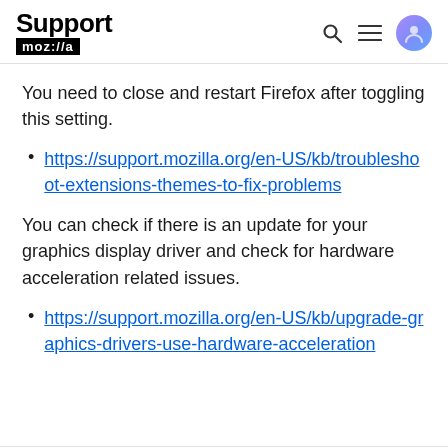Support mozilla | search icon | menu icon | user icon
You need to close and restart Firefox after toggling this setting.
https://support.mozilla.org/en-US/kb/troubleshoot-extensions-themes-to-fix-problems
You can check if there is an update for your graphics display driver and check for hardware acceleration related issues.
https://support.mozilla.org/en-US/kb/upgrade-graphics-drivers-use-hardware-acceleration